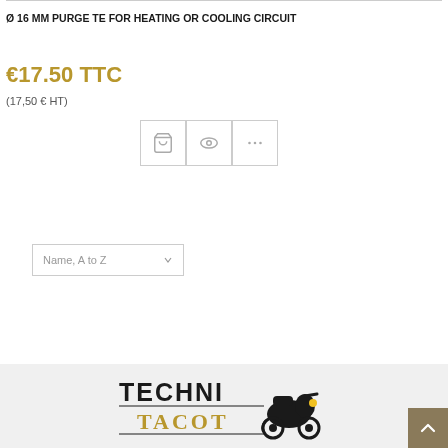Ø 16 MM PURGE TE FOR HEATING OR COOLING CIRCUIT
€17.50 TTC
(17,50 € HT)
[Figure (screenshot): Three icon buttons: shopping cart, eye/view, and ellipsis (more options)]
Name, A to Z
[Figure (logo): Techni Tacot logo with scooter illustration]